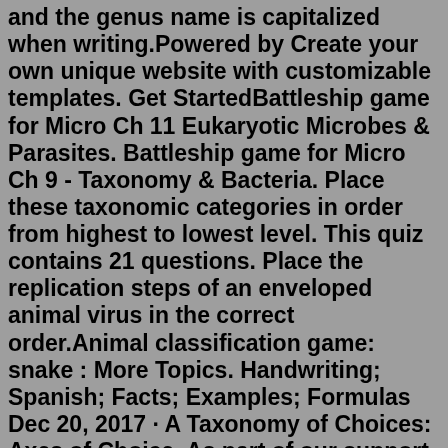and the genus name is capitalized when writing.Powered by Create your own unique website with customizable templates. Get StartedBattleship game for Micro Ch 11 Eukaryotic Microbes & Parasites. Battleship game for Micro Ch 9 - Taxonomy & Bacteria. Place these taxonomic categories in order from highest to lowest level. This quiz contains 21 questions. Place the replication steps of an enveloped animal virus in the correct order.Animal classification game: snake : More Topics. Handwriting; Spanish; Facts; Examples; Formulas Dec 20, 2017 · A Taxonomy of Choices: Axes of Choice. As part of our support for the Choice of Games Contest for Interactive Novels, we will be posting an irregular series of blog posts discussing important design and writing criteria for games. We hope that these can both provide guidance for people participating in the Contest and also help people ... Aug 25, 2011 · The NPD Group has released a Video Games Industry Taxonomy to provide clear definitions and nomenclature within the digital games